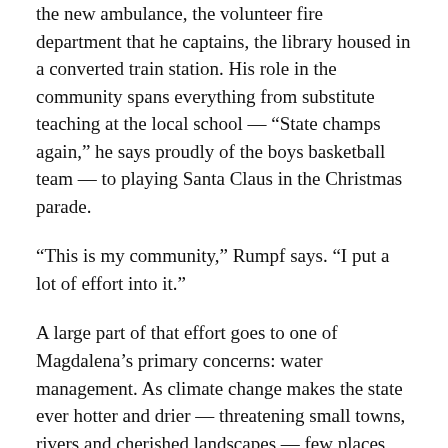the new ambulance, the volunteer fire department that he captains, the library housed in a converted train station. His role in the community spans everything from substitute teaching at the local school — “State champs again,” he says proudly of the boys basketball team — to playing Santa Claus in the Christmas parade.
“This is my community,” Rumpf says. “I put a lot of effort into it.”
A large part of that effort goes to one of Magdalena’s primary concerns: water management. As climate change makes the state ever hotter and drier — threatening small towns, rivers and cherished landscapes — few places are taking this problem as seriously as Magdalena.
Tucked away in a corner of Village Hall behind a box of Christmas decorations is a computer screen that displays